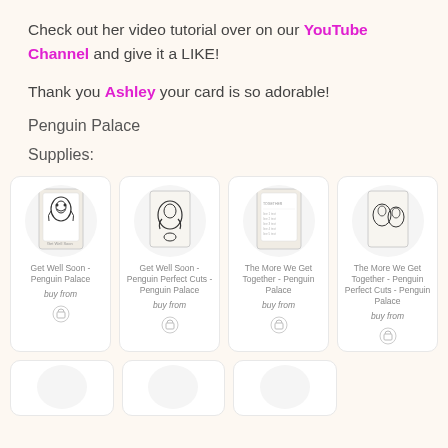Check out her video tutorial over on our YouTube Channel and give it a LIKE!
Thank you Ashley your card is so adorable!
Penguin Palace
Supplies:
[Figure (other): Product card: Get Well Soon - Penguin Palace stamp set illustration]
Get Well Soon - Penguin Palace
buy from
[Figure (other): Product card: Get Well Soon - Penguin Perfect Cuts - Penguin Palace die cuts illustration]
Get Well Soon - Penguin Perfect Cuts - Penguin Palace
buy from
[Figure (other): Product card: The More We Get Together - Penguin Palace stamp set illustration]
The More We Get Together - Penguin Palace
buy from
[Figure (other): Product card: The More We Get Together - Penguin Perfect Cuts - Penguin Palace die cuts illustration]
The More We Get Together - Penguin Perfect Cuts - Penguin Palace
buy from